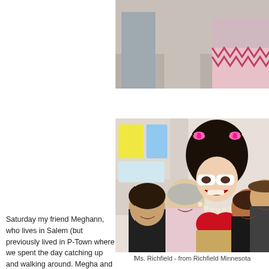[Figure (photo): Partial photo at top showing people standing, cropped so only legs/torso visible]
[Figure (photo): Group photo of four people posing with a drag performer named Ms. Richfield in a red costume with a large black wig and pink bows, white cat-eye glasses, and pearl necklace]
Ms. Richfield - from Richfield Minnesota
Saturday my friend Meghann, who lives in Salem (but previously lived in P-Town where we spent the day catching up and walking around. Megha and has such fond memories. I would love to spend some time in P-Town just gorgeous - and fun.